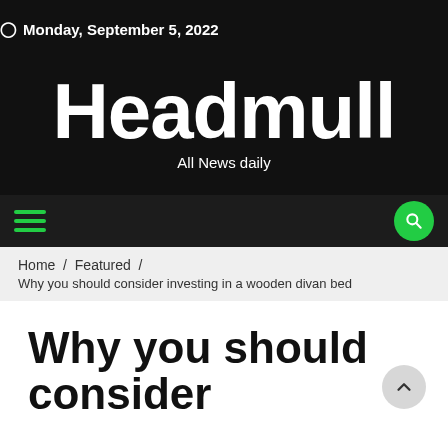Monday, September 5, 2022
Headmull
All News daily
Home / Featured / Why you should consider investing in a wooden divan bed
Why you should consider